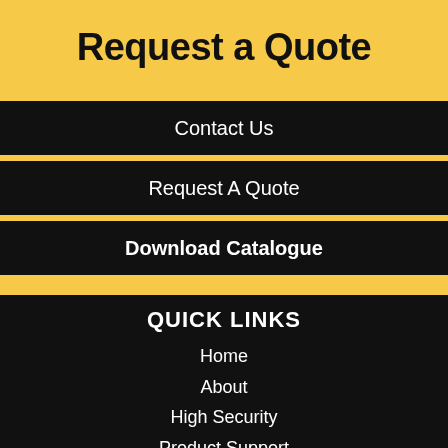Request a Quote
Contact Us
Request A Quote
Download Catalogue
QUICK LINKS
Home
About
High Security
Product Support